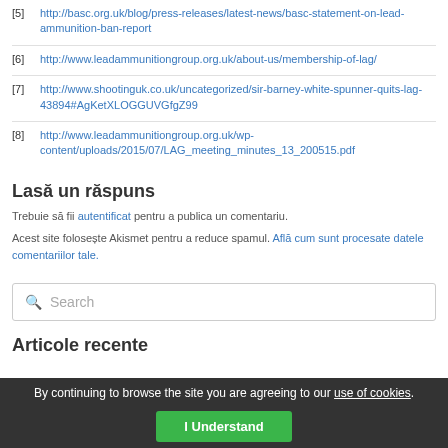[5] http://basc.org.uk/blog/press-releases/latest-news/basc-statement-on-lead-ammunition-ban-report
[6] http://www.leadammunitiongroup.org.uk/about-us/membership-of-lag/
[7] http://www.shootinguk.co.uk/uncategorized/sir-barney-white-spunner-quits-lag-43894#AgKetXLOGGUVGfgZ99
[8] http://www.leadammunitiongroup.org.uk/wp-content/uploads/2015/07/LAG_meeting_minutes_13_200515.pdf
Lasă un răspuns
Trebuie să fii autentificat pentru a publica un comentariu.
Acest site folosește Akismet pentru a reduce spamul. Află cum sunt procesate datele comentariilor tale.
[Figure (other): Search box with magnifying glass icon and placeholder text 'Search']
Articole recente
By continuing to browse the site you are agreeing to our use of cookies.